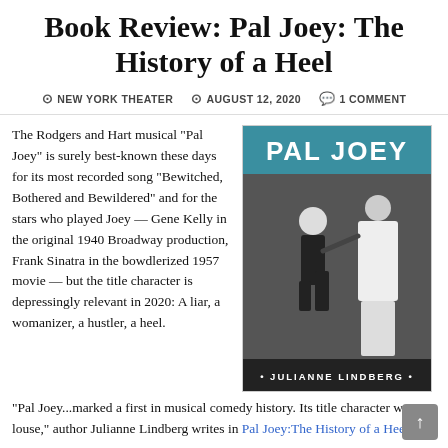Book Review: Pal Joey: The History of a Heel
NEW YORK THEATER  AUGUST 12, 2020  1 COMMENT
The Rodgers and Hart musical "Pal Joey" is surely best-known these days for its most recorded song "Bewitched, Bothered and Bewildered" and for the stars who played Joey — Gene Kelly in the original 1940 Broadway production, Frank Sinatra in the bowdlerized 1957 movie — but the title character is depressingly relevant in 2020: A liar, a womanizer, a hustler, a heel.
[Figure (photo): Book cover of 'Pal Joey: The History of a Heel' by Julianne Lindberg. Black and white photo of a man in a tuxedo kneeling before a woman in a white dress. Title text in blue and white on dark background.]
"Pal Joey...marked a first in musical comedy history. Its title character was a louse," author Julianne Lindberg writes in Pal Joey:The History of a Heel